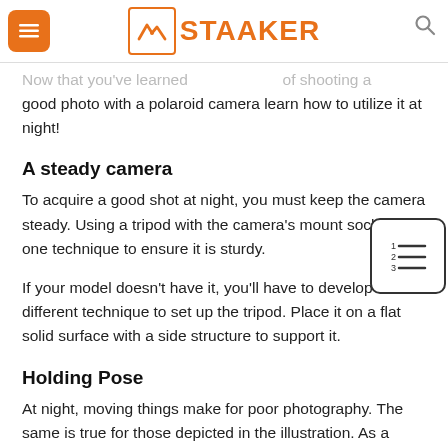STAAKER
Now that you've learned the tips of shooting a good photo with a polaroid camera learn how to utilize it at night!
A steady camera
To acquire a good shot at night, you must keep the camera steady. Using a tripod with the camera's mount socket is one technique to ensure it is sturdy.
If your model doesn't have it, you'll have to develop a different technique to set up the tripod. Place it on a flat solid surface with a side structure to support it.
Holding Pose
At night, moving things make for poor photography. The same is true for those depicted in the illustration. As a